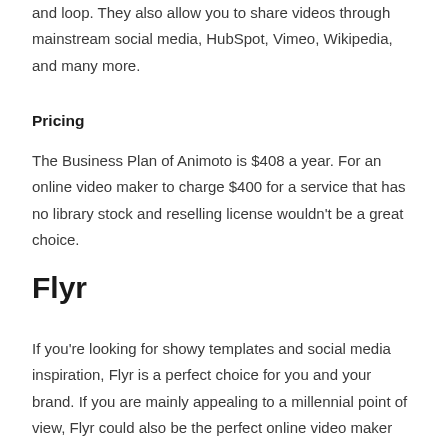and loop. They also allow you to share videos through mainstream social media, HubSpot, Vimeo, Wikipedia, and many more.
Pricing
The Business Plan of Animoto is $408 a year. For an online video maker to charge $400 for a service that has no library stock and reselling license wouldn't be a great choice.
Flyr
If you're looking for showy templates and social media inspiration, Flyr is a perfect choice for you and your brand. If you are mainly appealing to a millennial point of view, Flyr could also be the perfect online video maker you will ever find.